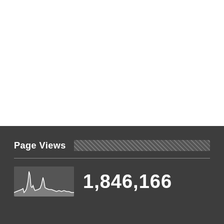Page Views
[Figure (continuous-plot): Small sparkline area chart showing page view trends over time with a prominent spike, displayed in white on dark grey background]
1,846,166